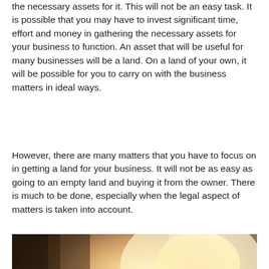the necessary assets for it. This will not be an easy task. It is possible that you may have to invest significant time, effort and money in gathering the necessary assets for your business to function. An asset that will be useful for many businesses will be a land. On a land of your own, it will be possible for you to carry on with the business matters in ideal ways.
However, there are many matters that you have to focus on in getting a land for your business. It will not be as easy as going to an empty land and buying it from the owner. There is much to be done, especially when the legal aspect of matters is taken into account.
[Figure (photo): Two people shaking hands across a table with documents and items on it, backlit by a warm bright light from a window. Business handshake deal.]